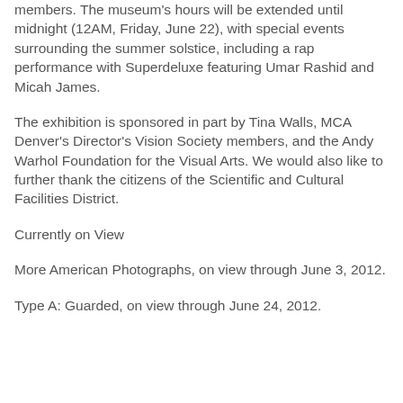members. The museum's hours will be extended until midnight (12AM, Friday, June 22), with special events surrounding the summer solstice, including a rap performance with Superdeluxe featuring Umar Rashid and Micah James.
The exhibition is sponsored in part by Tina Walls, MCA Denver's Director's Vision Society members, and the Andy Warhol Foundation for the Visual Arts. We would also like to further thank the citizens of the Scientific and Cultural Facilities District.
Currently on View
More American Photographs, on view through June 3, 2012.
Type A: Guarded, on view through June 24, 2012.